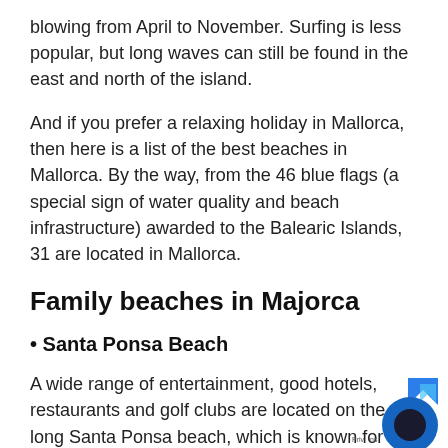blowing from April to November. Surfing is less popular, but long waves can still be found in the east and north of the island.
And if you prefer a relaxing holiday in Mallorca, then here is a list of the best beaches in Mallorca. By the way, from the 46 blue flags (a special sign of water quality and beach infrastructure) awarded to the Balearic Islands, 31 are located in Mallorca.
Family beaches in Majorca
• Santa Ponsa Beach
A wide range of entertainment, good hotels, restaurants and golf clubs are located on the long Santa Ponsa beach, which is known for its white and crystal clear waters. A special plus is that the resort is located in close proximity to the capital of